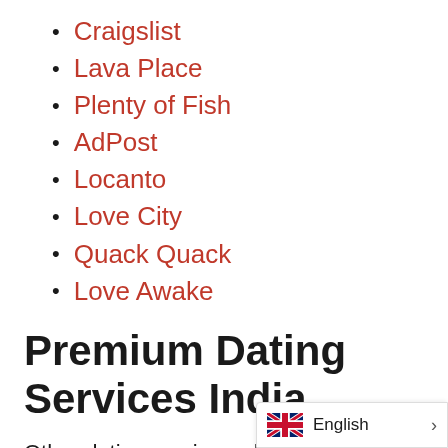Craigslist
Lava Place
Plenty of Fish
AdPost
Locanto
Love City
Quack Quack
Love Awake
Premium Dating Services India
Other dating services which offer good coverage in India but charge a subscription fee for its members include: